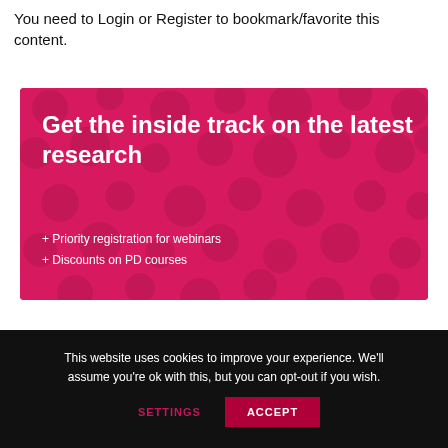You need to Login or Register to bookmark/favorite this content.
[Figure (infographic): Pink banner with dark polka dot pattern. Headline: 'Get the inside track on the latest research'. Below: '+ Priority registration for webinars' and '+ Discounts on PD courses']
This website uses cookies to improve your experience. We'll assume you're ok with this, but you can opt-out if you wish.
SETTINGS   ACCEPT